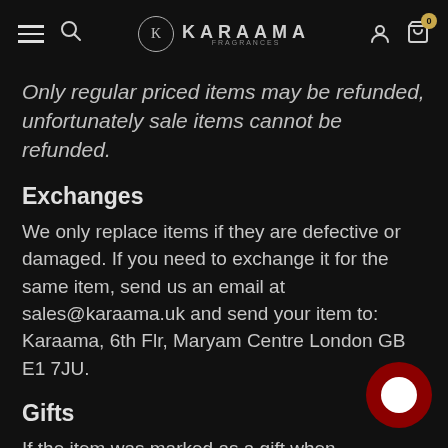KARAAMA
Only regular priced items may be refunded, unfortunately sale items cannot be refunded.
Exchanges
We only replace items if they are defective or damaged. If you need to exchange it for the same item, send us an email at sales@karaama.uk and send your item to: Karaama, 6th Flr, Maryam Centre London GB E1 7JU.
Gifts
If the item was marked as a gift when purchased and shipped directly to you, you'll receive a gift credit for the value of your return. Once the return is received, a gift certificate will be